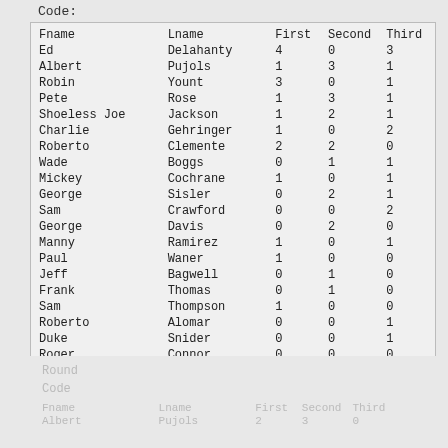Code:
| Fname | Lname | First | Second | Third |
| --- | --- | --- | --- | --- |
| Ed | Delahanty | 4 | 0 | 3 |
| Albert | Pujols | 1 | 3 | 1 |
| Robin | Yount | 3 | 0 | 1 |
| Pete | Rose | 1 | 3 | 1 |
| Shoeless Joe | Jackson | 1 | 2 | 1 |
| Charlie | Gehringer | 1 | 0 | 2 |
| Roberto | Clemente | 2 | 2 | 0 |
| Wade | Boggs | 0 | 1 | 1 |
| Mickey | Cochrane | 1 | 0 | 1 |
| George | Sisler | 0 | 2 | 1 |
| Sam | Crawford | 0 | 0 | 2 |
| George | Davis | 0 | 2 | 0 |
| Manny | Ramirez | 1 | 0 | 1 |
| Paul | Waner | 1 | 0 | 0 |
| Jeff | Bagwell | 0 | 1 | 0 |
| Frank | Thomas | 0 | 1 | 0 |
| Sam | Thompson | 1 | 0 | 0 |
| Roberto | Alomar | 0 | 0 | 1 |
| Duke | Snider | 0 | 0 | 1 |
| Roger | Connor | 0 | 0 | 0 |
| Pete | Browning | 0 | 0 | 0 |
| Bill | Dickey | 0 | 0 | 0 |
| King | Kelly | 0 | 0 | 0 |
[Figure (screenshot): HeaderBidding.com advertisement banner: blue background with white bold text 'HEADERBIDDING.COM' and subtitle 'Your source for all things programmatic advertising.']